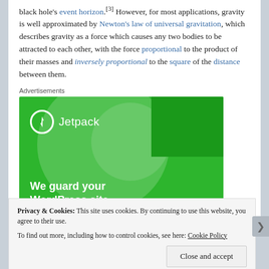black hole's event horizon.[3] However, for most applications, gravity is well approximated by Newton's law of universal gravitation, which describes gravity as a force which causes any two bodies to be attracted to each other, with the force proportional to the product of their masses and inversely proportional to the square of the distance between them.
Advertisements
[Figure (other): Jetpack advertisement banner. Green background with circular light overlay and dot pattern. Shows Jetpack logo (lightning bolt in circle) and text 'We guard your WordPress site.']
Privacy & Cookies: This site uses cookies. By continuing to use this website, you agree to their use. To find out more, including how to control cookies, see here: Cookie Policy